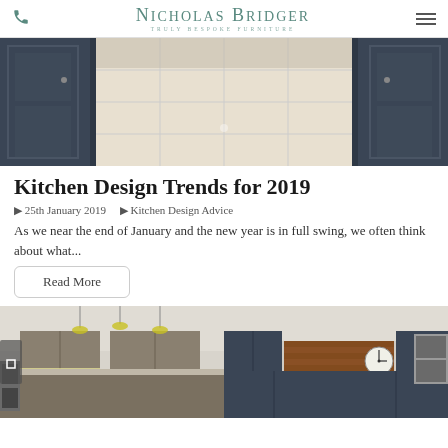Nicholas Bridger — Truly Bespoke Furniture
[Figure (photo): Kitchen interior with dark navy blue cabinetry and white tile floor viewed from a low angle between cabinet units]
Kitchen Design Trends for 2019
🗓 25th January 2019    🏷 Kitchen Design Advice
As we near the end of January and the new year is in full swing, we often think about what...
Read More
[Figure (photo): Two kitchen interior photos side by side: left shows a modern kitchen with pendant lights and grey cabinetry; right shows a kitchen with dark cabinets and brick wall with a clock]